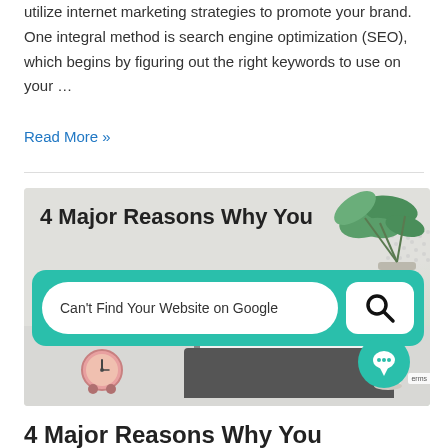utilize internet marketing strategies to promote your brand. One integral method is search engine optimization (SEO), which begins by figuring out the right keywords to use on your …
Read More »
[Figure (illustration): Blog post featured image showing a stylized search bar with the text 'Can't Find Your Website on Google' over a desk scene with a laptop, clock, and plant. Bold title reads '4 Major Reasons Why You' above the search bar.]
4 Major Reasons Why You Can't Find Your Website on Google